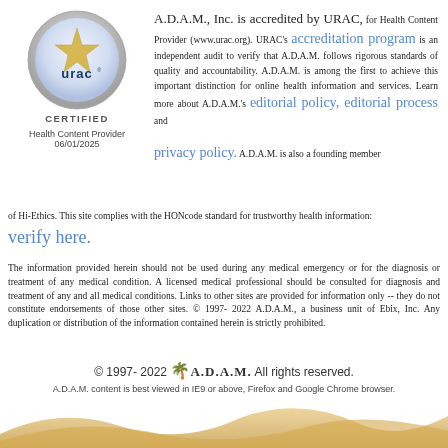[Figure (logo): URAC certified health content provider badge - circular silver badge with star and 'urac' text, labeled CERTIFIED, Health Content Provider, 06/01/2025]
A.D.A.M., Inc. is accredited by URAC, for Health Content Provider (www.urac.org). URAC's accreditation program is an independent audit to verify that A.D.A.M. follows rigorous standards of quality and accountability. A.D.A.M. is among the first to achieve this important distinction for online health information and services. Learn more about A.D.A.M.'s editorial policy, editorial process and privacy policy. A.D.A.M. is also a founding member of Hi-Ethics. This site complies with the HONcode standard for trustworthy health information:
verify here.
The information provided herein should not be used during any medical emergency or for the diagnosis or treatment of any medical condition. A licensed medical professional should be consulted for diagnosis and treatment of any and all medical conditions. Links to other sites are provided for information only -- they do not constitute endorsements of those other sites. © 1997- 2022 A.D.A.M., a business unit of Ebix, Inc. Any duplication or distribution of the information contained herein is strictly prohibited.
© 1997- 2022 A.D.A.M. All rights reserved.
A.D.A.M. content is best viewed in IE9 or above, Firefox and Google Chrome browser.